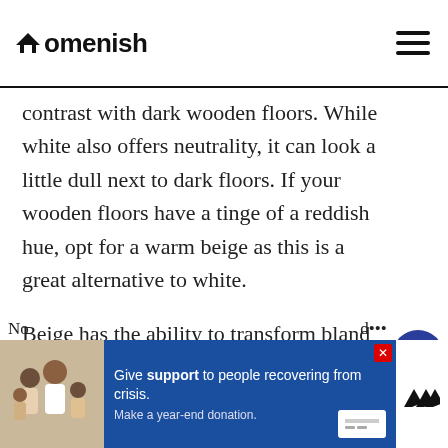Homenish
contrast with dark wooden floors. While white also offers neutrality, it can look a little dull next to dark floors. If your wooden floors have a tinge of a reddish hue, opt for a warm beige as this is a great alternative to white.

Beige has the ability to transform bland walls into elegant interior spaces as this color has a creamier tone that emits warmth. So if you want to create an inviting atmosphere, consider painting your walls beige and going for dark wooden flooring.
No